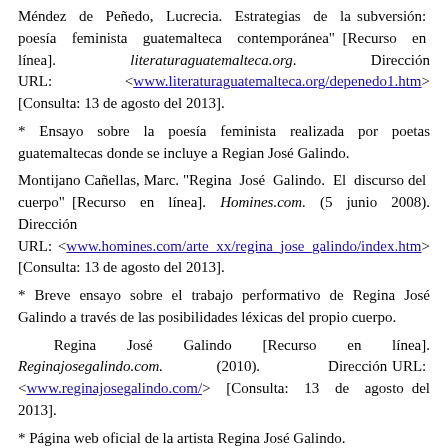Méndez de Peñedo, Lucrecia. Estrategias de la subversión: poesía feminista guatemalteca contemporánea" [Recurso en línea]. literaturaguatemalteca.org. Dirección URL: <www.literaturaguatemalteca.org/depenedo1.htm> [Consulta: 13 de agosto del 2013].
* Ensayo sobre la poesía feminista realizada por poetas guatemaltecas donde se incluye a Regian José Galindo.
Montijano Cañellas, Marc. "Regina José Galindo. El discurso del cuerpo" [Recurso en línea]. Homines.com. (5 junio 2008). Dirección URL: <www.homines.com/arte_xx/regina_jose_galindo/index.htm> [Consulta: 13 de agosto del 2013].
* Breve ensayo sobre el trabajo performativo de Regina José Galindo a través de las posibilidades léxicas del propio cuerpo.
Regina José Galindo [Recurso en línea]. Reginajosegalindo.com. (2010). Dirección URL: <www.reginajosegalindo.com/> [Consulta: 13 de agosto del 2013].
* Página web oficial de la artista Regina José Galindo.
"Regina José Galindo" [Recurso en línea]. La Caja Blanca. (2010). Dirección